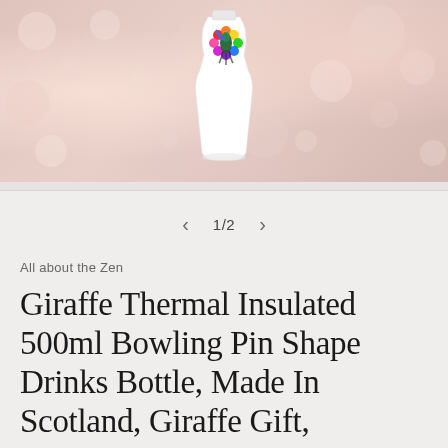[Figure (photo): Product photo of a white bowling pin shaped drinks bottle with a colorful hummingbird and rainbow dots design, photographed against a soft pink/rose bokeh background with blurred light circles.]
1/2
All about the Zen
Giraffe Thermal Insulated 500ml Bowling Pin Shape Drinks Bottle, Made In Scotland, Giraffe Gift,